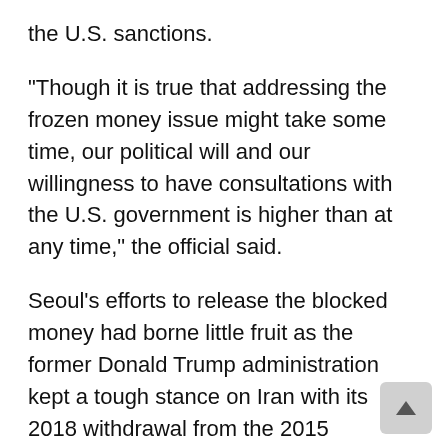the U.S. sanctions.
"Though it is true that addressing the frozen money issue might take some time, our political will and our willingness to have consultations with the U.S. government is higher than at any time," the official said.
Seoul's efforts to release the blocked money had borne little fruit as the former Donald Trump administration kept a tough stance on Iran with its 2018 withdrawal from the 2015 landmark nuclear deal with Tehran.
But hopes are rising for a resolution to the conflict with Iran, as Biden has indicated his intention to restore the nuclear deal if Iran gets back into compliance